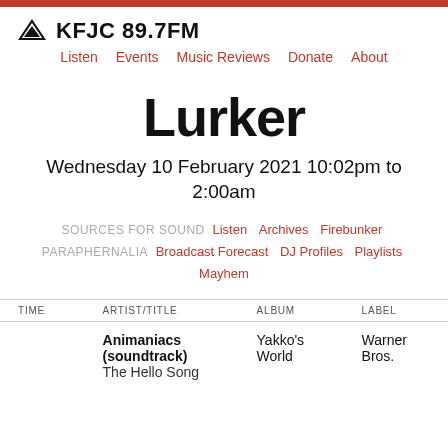KFJC 89.7FM | Listen | Events | Music Reviews | Donate | About
Lurker
Wednesday 10 February 2021 10:02pm to 2:00am
SOURCES FOR SOUND  Listen  Archives  Firebunker  PARAPHERNALIA  Broadcast Forecast  DJ Profiles  Playlists  Mayhem
| TIME | ARTIST/TITLE | ALBUM | LABEL |
| --- | --- | --- | --- |
|  | Animaniacs (soundtrack)
The Hello Song | Yakko's World | Warner Bros. |